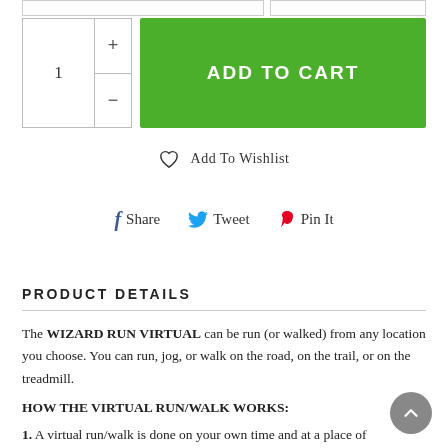[Figure (screenshot): Add to cart UI with quantity selector showing '1' with plus and minus buttons, and a green 'ADD TO CART' button]
Add To Wishlist
Share  Tweet  Pin It
PRODUCT DETAILS
The WIZARD RUN VIRTUAL can be run (or walked) from any location you choose. You can run, jog, or walk on the road, on the trail, or on the treadmill.
HOW THE VIRTUAL RUN/WALK WORKS:
1. A virtual run/walk is done on your own time and at a place of